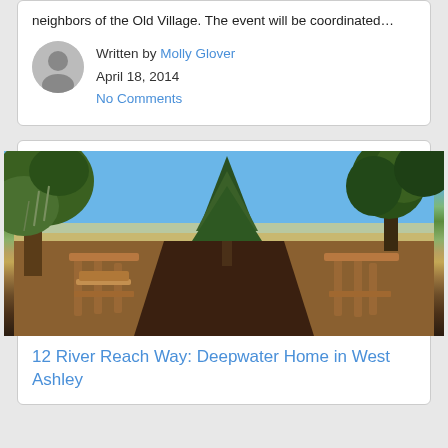neighbors of the Old Village. The event will be coordinated…
Written by Molly Glover
April 18, 2014
No Comments
[Figure (photo): Outdoor photo of a wooden deck/boardwalk with railings leading down toward a waterfront beach/marsh scene, surrounded by large trees including what appear to be Spanish moss-draped oaks and tall conifers, under a clear blue sky.]
12 River Reach Way: Deepwater Home in West Ashley